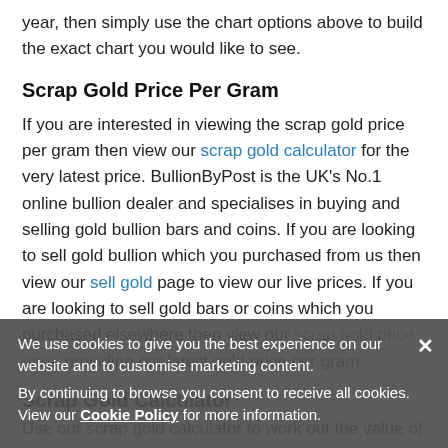year, then simply use the chart options above to build the exact chart you would like to see.
Scrap Gold Price Per Gram
If you are interested in viewing the scrap gold price per gram then view our scrap gold calculator for the very latest price. BullionByPost is the UK's No.1 online bullion dealer and specialises in buying and selling gold bullion bars and coins. If you are looking to sell gold bullion which you purchased from us then view our sell gold page to view our live prices. If you are looking to sell gold bars or coins which you purchased elsewhere then view our scrap gold price page providing our latest gold price per gram.
Scrap Gold Calculator
Use our scrap gold calculator to work out the value of your
We use cookies to give you the best experience on our website and to customise marketing content. By continuing to browse you consent to receive all cookies. View our Cookie Policy for more information.
weight of your gold in grams